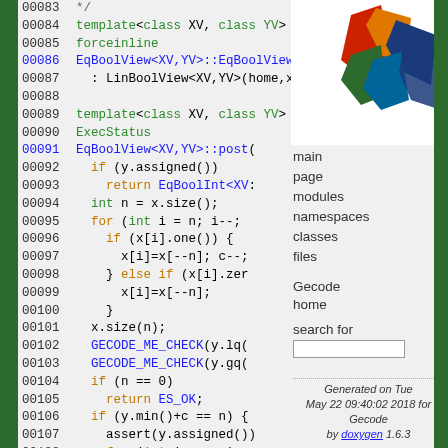[Figure (screenshot): Source code listing from Gecode library showing EqBoolView template class constructor and post method implementation, with line numbers 00083-00112. Left panel shows C++ code with syntax highlighting. Right panel shows Gecode navigation sidebar with logo, links (main page, modules, namespaces, classes, files, Gecode home, search for), and footer text 'Generated on Tue May 22 09:40:02 2018 for Gecode by doxygen 1.6.3'.]